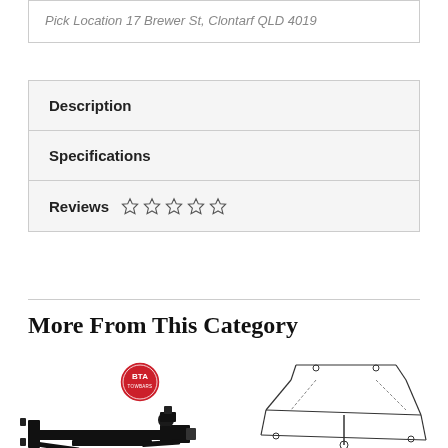Pick Location 17 Brewer St, Clontarf QLD 4019
Description
Specifications
Reviews ☆ ☆ ☆ ☆ ☆
More From This Category
[Figure (photo): Product image of a black tow bar / trailer hitch with a BTA brand badge logo]
[Figure (photo): Line drawing / engineering illustration of a tow bar bracket assembly]